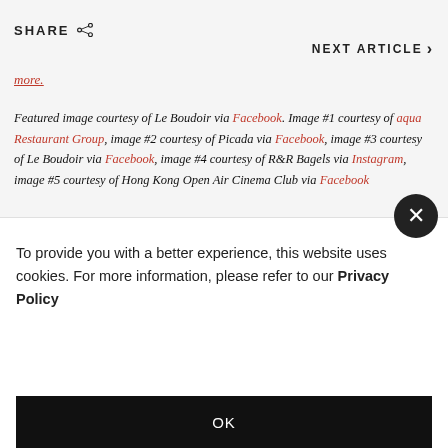SHARE
NEXT ARTICLE
more.
Featured image courtesy of Le Boudoir via Facebook. Image #1 courtesy of aqua Restaurant Group, image #2 courtesy of Picada via Facebook, image #3 courtesy of Le Boudoir via Facebook, image #4 courtesy of R&R Bagels via Instagram, image #5 courtesy of Hong Kong Open Air Cinema Club via Facebook
To provide you with a better experience, this website uses cookies. For more information, please refer to our Privacy Policy
OK